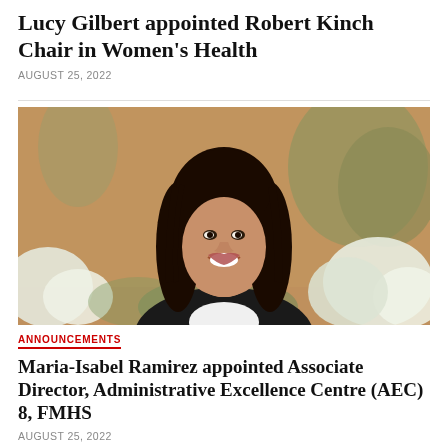Lucy Gilbert appointed Robert Kinch Chair in Women's Health
AUGUST 25, 2022
[Figure (photo): Portrait photo of a woman with long dark hair, smiling, wearing a black jacket and white top, outdoors with white hydrangea flowers and trees in the background]
ANNOUNCEMENTS
Maria-Isabel Ramirez appointed Associate Director, Administrative Excellence Centre (AEC) 8, FMHS
AUGUST 25, 2022